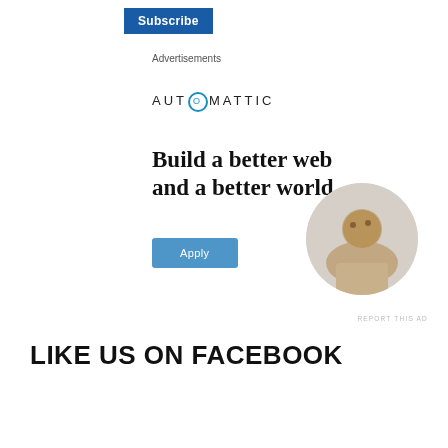Subscribe
Advertisements
[Figure (infographic): Automattic advertisement banner with logo, headline 'Build a better web and a better world.', Apply button, and circular photo of a person thinking at a desk. Contains 'REPORT THIS AD' link.]
LIKE US ON FACEBOOK